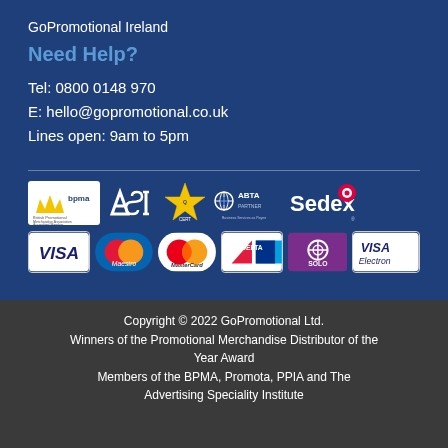GoPromotional Ireland
Need Help?
Tel: 0800 0148 970
E: hello@gopromotional.co.uk
Lines open: 9am to 5pm
[Figure (logo): Row of association and membership badges: BPMA (British Promotional Merchandise Association Accredited Member), ASI, Sommet Quality Certified, ABTA Partner, Sedex]
[Figure (logo): Row of payment method logos: VISA, Maestro, MasterCard, DELTA, SOLO, VISA Electron]
Copyright © 2022 GoPromotional Ltd.
Winners of the Promotional Merchandise Distributor of the Year Award
Members of the BPMA, Promota, PPIA and The Advertising Speciality Institute